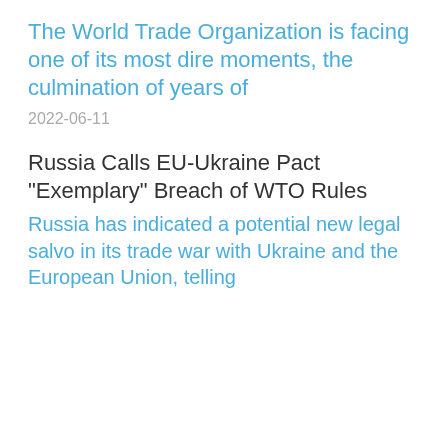The World Trade Organization is facing one of its most dire moments, the culmination of years of
2022-06-11
Russia Calls EU-Ukraine Pact "Exemplary" Breach of WTO Rules
Russia has indicated a potential new legal salvo in its trade war with Ukraine and the European Union, telling